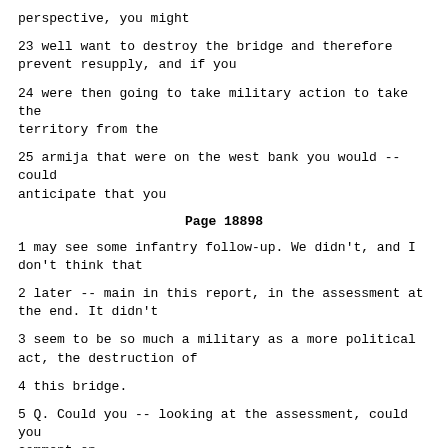perspective, you might
23 well want to destroy the bridge and therefore prevent resupply, and if you
24 were then going to take military action to take the territory from the
25 armija that were on the west bank you would -- could anticipate that you
Page 18898
1 may see some infantry follow-up. We didn't, and I don't think that
2 later -- main in this report, in the assessment at the end. It didn't
3 seem to be so much a military as a more political act, the destruction of
4 this bridge.
5 Q. Could you -- looking at the assessment, could you comment on
6 your -- on the statement there that the Old Bridge could be linked to
7 events in Vares and explained as bloody-minded revenge?